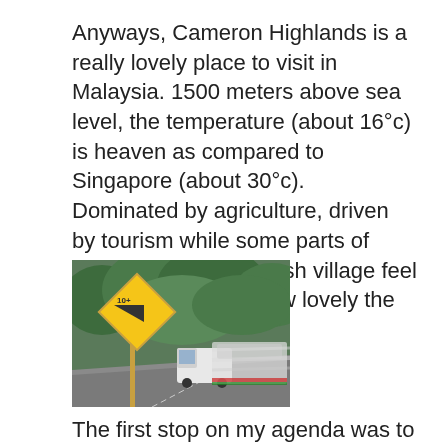Anyways, Cameron Highlands is a really lovely place to visit in Malaysia. 1500 meters above sea level, the temperature (about 16°c) is heaven as compared to Singapore (about 30°c).
Dominated by agriculture, driven by tourism while some parts of town still has an English village feel to it. Did I mention how lovely the weather was?
[Figure (photo): A road scene in Cameron Highlands with a yellow diamond-shaped warning sign showing a slope/gradient indicator (10%) on a post, with lush green trees in background and vehicles (a white van and a blurred vehicle) on the road.]
The first stop on my agenda was to visit the